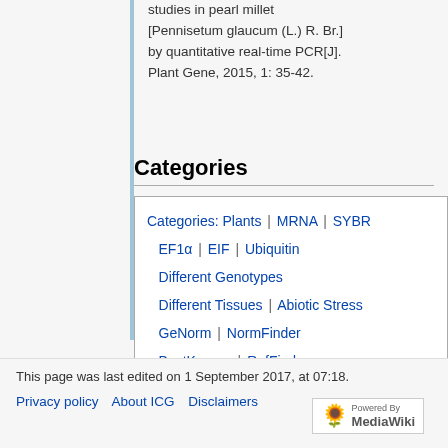studies in pearl millet [Pennisetum glaucum (L.) R. Br.] by quantitative real-time PCR[J]. Plant Gene, 2015, 1: 35-42.
Categories
Categories: Plants | MRNA | SYBR | EF1α | EIF | Ubiquitin | Different Genotypes | Different Tissues | Abiotic Stress | GeNorm | NormFinder | BestKeeper | RefFinder
This page was last edited on 1 September 2017, at 07:18.
Privacy policy   About ICG   Disclaimers